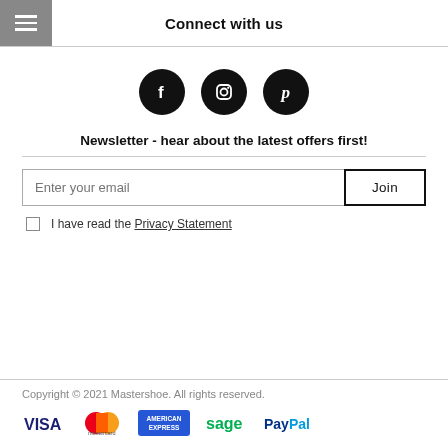Connect with us
[Figure (illustration): Three social media icons (Facebook, Instagram, Pinterest) as white icons on black circles]
Newsletter - hear about the latest offers first!
Enter your email | Join
I have read the Privacy Statement
Copyright © 2021 Mastershoe. All rights reserved.
[Figure (logo): Payment method logos: VISA, Mastercard, American Express, Sage, PayPal]